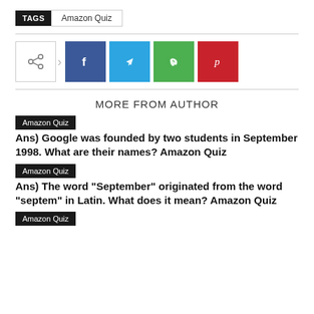TAGS  Amazon Quiz
[Figure (infographic): Share buttons row: share icon box, arrow, Facebook (blue), Telegram (blue), WhatsApp (green), Pinterest (red)]
MORE FROM AUTHOR
Amazon Quiz
Ans) Google was founded by two students in September 1998. What are their names? Amazon Quiz
Amazon Quiz
Ans) The word “September” originated from the word “septem” in Latin. What does it mean? Amazon Quiz
Amazon Quiz